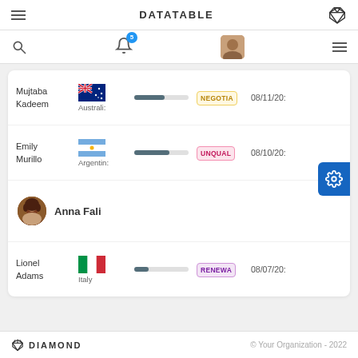DATATABLE
[Figure (screenshot): App toolbar with search icon, bell notification (badge: 5), user avatar, and menu icon]
| Name | Country | Progress | Status | Date |
| --- | --- | --- | --- | --- |
| Mujtaba Kadeem | Australia |  | NEGOTIA | 08/11/20 |
| Emily Murillo | Argentina |  | UNQUAL | 08/10/20 |
| Anna Fali |  |  |  |  |
| Lionel Adams | Italy |  | RENEWA | 08/07/20 |
DIAMOND  © Your Organization - 2022